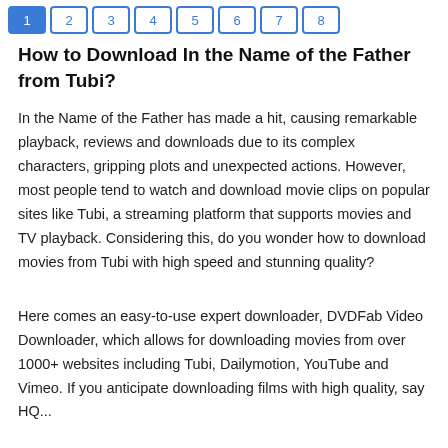1 2 3 4 5 6 7 8
How to Download In the Name of the Father from Tubi?
In the Name of the Father has made a hit, causing remarkable playback, reviews and downloads due to its complex characters, gripping plots and unexpected actions. However, most people tend to watch and download movie clips on popular sites like Tubi, a streaming platform that supports movies and TV playback. Considering this, do you wonder how to download movies from Tubi with high speed and stunning quality?
Here comes an easy-to-use expert downloader, DVDFab Video Downloader, which allows for downloading movies from over 1000+ websites including Tubi, Dailymotion, YouTube and Vimeo. If you anticipate downloading films with high quality, say HQ...